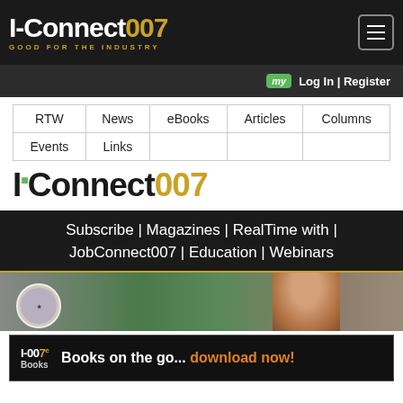I-Connect007 | GOOD FOR THE INDUSTRY
my  Log In | Register
RTW
News
eBooks
Articles
Columns
Events
Links
IConnect007
Subscribe | Magazines | RealTime with | JobConnect007 | Education | Webinars
[Figure (photo): Photo strip showing a logo badge and a person's head/face on a green/brown background]
I-007e Books   Books on the go... download now!